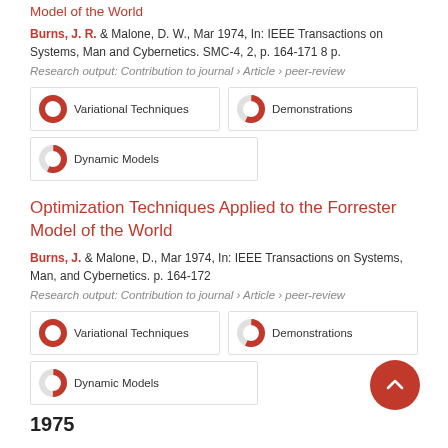Model of the World
Burns, J. R. & Malone, D. W., Mar 1974, In: IEEE Transactions on Systems, Man and Cybernetics. SMC-4, 2, p. 164-171 8 p.
Research output: Contribution to journal › Article › peer-review
[Figure (infographic): Fingerprint badges: Variational Techniques (100%), Demonstrations (57%), Dynamic Models (57%)]
Optimization Techniques Applied to the Forrester Model of the World
Burns, J. & Malone, D., Mar 1974, In: IEEE Transactions on Systems, Man, and Cybernetics. p. 164-172
Research output: Contribution to journal › Article › peer-review
[Figure (infographic): Fingerprint badges: Variational Techniques (100%), Demonstrations (57%), Dynamic Models (50%)]
1975